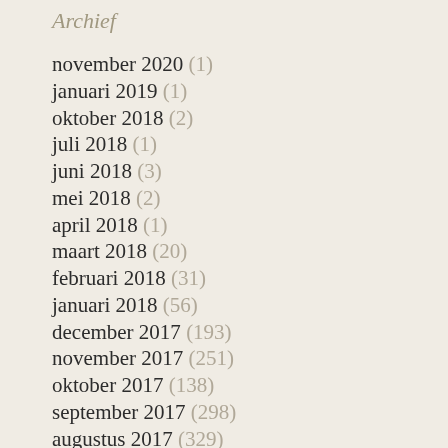Archief
november 2020 (1)
januari 2019 (1)
oktober 2018 (2)
juli 2018 (1)
juni 2018 (3)
mei 2018 (2)
april 2018 (1)
maart 2018 (20)
februari 2018 (31)
januari 2018 (56)
december 2017 (193)
november 2017 (251)
oktober 2017 (138)
september 2017 (298)
augustus 2017 (329)
juli 2017 (272)